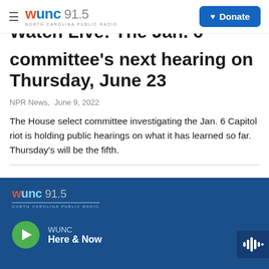WUNC 91.5 NORTH CAROLINA PUBLIC RADIO | Donate
Watch Live: The Jan. 6 committee's next hearing on Thursday, June 23
NPR News, June 9, 2022
The House select committee investigating the Jan. 6 Capitol riot is holding public hearings on what it has learned so far. Thursday's will be the fifth.
WUNC 91.5 NORTH CAROLINA PUBLIC RADIO | WUNC | Here & Now